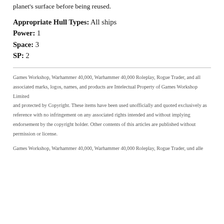planet's surface before being reused.
Appropriate Hull Types: All ships
Power: 1
Space: 3
SP: 2
Games Workshop, Warhammer 40,000, Warhammer 40,000 Roleplay, Rogue Trader, and all associated marks, logos, names, and products are Intelectual Property of Games Workshop Limited and protected by Copyright. These items have been used unofficially and quoted exclusively as reference with no infringement on any associated rights intended and without implying endorsement by the copyright holder. Other contents of this articles are published without permission or license.
Games Workshop, Warhammer 40,000, Warhammer 40,000 Roleplay, Rogue Trader, und alle